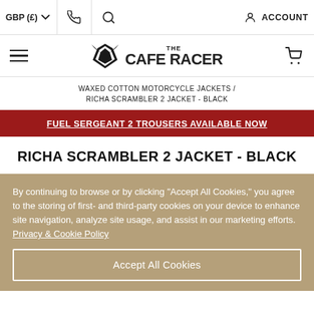GBP (£) | [phone icon] | [search icon] | ACCOUNT
[Figure (logo): The Cafe Racer logo with stylized wing/bird emblem and cart icon]
WAXED COTTON MOTORCYCLE JACKETS / RICHA SCRAMBLER 2 JACKET - BLACK
FUEL SERGEANT 2 TROUSERS AVAILABLE NOW
RICHA SCRAMBLER 2 JACKET - BLACK
By continuing to browse or by clicking "Accept All Cookies," you agree to the storing of first- and third-party cookies on your device to enhance site navigation, analyze site usage, and assist in our marketing efforts. Privacy & Cookie Policy
Accept All Cookies